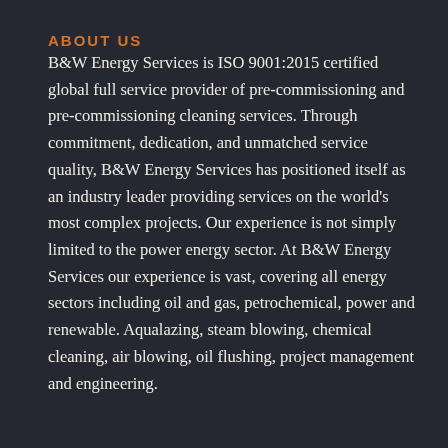ABOUT US
B&W Energy Services is ISO 9001:2015 certified global full service provider of pre-commissioning and pre-commissioning cleaning services. Through commitment, dedication, and unmatched service quality, B&W Energy Services has positioned itself as an industry leader providing services on the world's most complex projects. Our experience is not simply limited to the power energy sector. At B&W Energy Services our experience is vast, covering all energy sectors including oil and gas, petrochemical, power and renewable. Aqualazing, steam blowing, chemical cleaning, air blowing, oil flushing, project management and engineering.